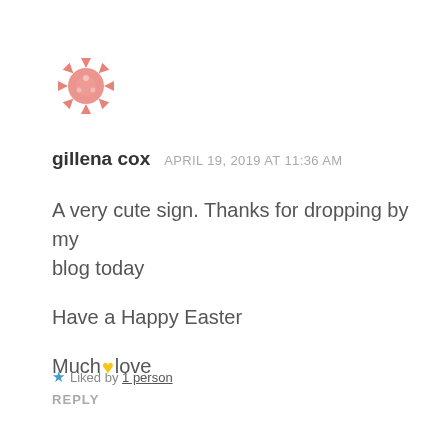[Figure (logo): Pink/salmon star-burst or crab-like avatar icon for user gillena cox]
gillena cox   APRIL 19, 2019 AT 11:36 AM
A very cute sign. Thanks for dropping by my blog today

Have a Happy Easter

Much 💛 love
★ Liked by 1 person
REPLY